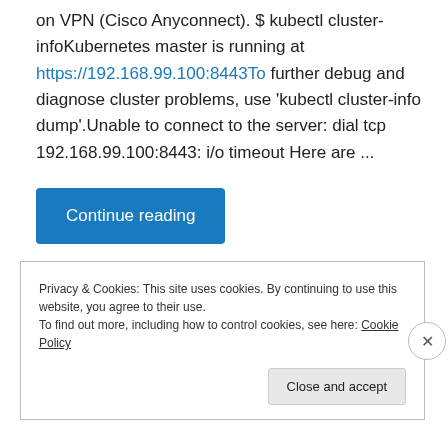on VPN (Cisco Anyconnect). $ kubectl cluster-infoKubernetes master is running at https://192.168.99.100:8443To further debug and diagnose cluster problems, use 'kubectl cluster-info dump'.Unable to connect to the server: dial tcp 192.168.99.100:8443: i/o timeout Here are ...
Continue reading
Privacy & Cookies: This site uses cookies. By continuing to use this website, you agree to their use.
To find out more, including how to control cookies, see here: Cookie Policy
Close and accept